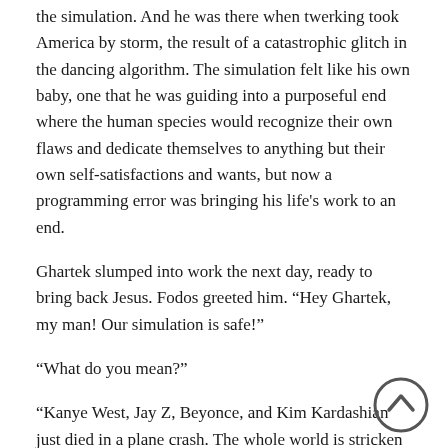the simulation. And he was there when twerking took America by storm, the result of a catastrophic glitch in the dancing algorithm. The simulation felt like his own baby, one that he was guiding into a purposeful end where the human species would recognize their own flaws and dedicate themselves to anything but their own self-satisfactions and wants, but now a programming error was bringing his life’s work to an end.
Ghartek slumped into work the next day, ready to bring back Jesus. Fodos greeted him. “Hey Ghartek, my man! Our simulation is safe!”
“What do you mean?”
“Kanye West, Jay Z, Beyonce, and Kim Kardashian just died in a plane crash. The whole world is stricken with equal amounts of grief and joy.”